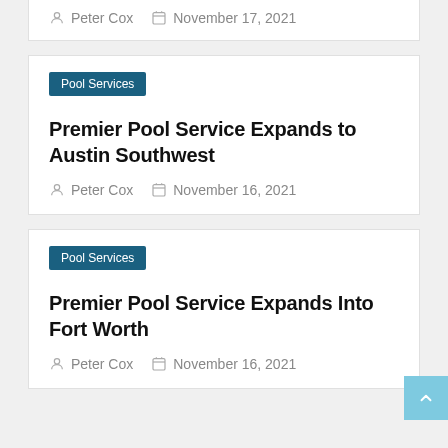Peter Cox   November 17, 2021
Pool Services
Premier Pool Service Expands to Austin Southwest
Peter Cox   November 16, 2021
Pool Services
Premier Pool Service Expands Into Fort Worth
Peter Cox   November 16, 2021